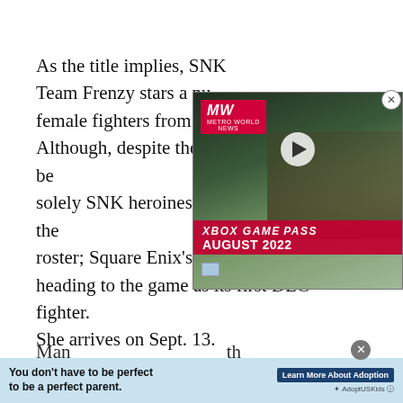As the title implies, SNK Heroines Tag Team Frenzy stars a number of female fighters from across... Although, despite the game's title, it won't be solely SNK heroines who will be joining the roster; Square Enix's Thief Arthur will be heading to the game as its first DLC fighter. She arrives on Sept. 13.
[Figure (screenshot): Xbox Game Pass August 2022 video advertisement overlay with MW logo, play button, and soldiers in background]
Many of you may not be familiar with th...
[Figure (infographic): Bottom banner ad: 'You don't have to be perfect to be a perfect parent.' with Learn More About Adoption button]